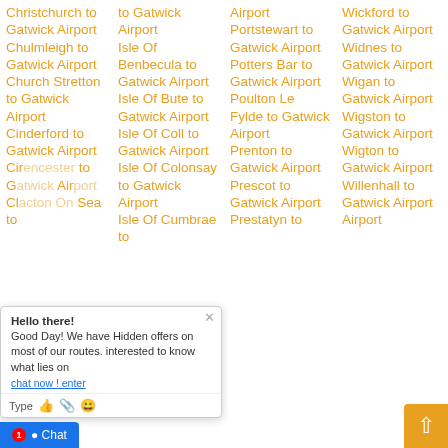Christchurch to Gatwick Airport
Chulmleigh to Gatwick Airport
Church Stretton to Gatwick Airport
Cinderford to Gatwick Airport
Cirencester to Gatwick Airport
Clacton On Sea to
to Gatwick Airport
Isle Of Benbecula to Gatwick Airport
Isle Of Bute to Gatwick Airport
Isle Of Coll to Gatwick Airport
Isle Of Colonsay to Gatwick Airport
Isle Of Cumbrae to
Airport
Portstewart to Gatwick Airport
Potters Bar to Gatwick Airport
Poulton Le Fylde to Gatwick Airport
Prenton to Gatwick Airport
Prescot to Gatwick Airport
Prestatyn to
Wickford to Gatwick Airport
Widnes to Gatwick Airport
Wigan to Gatwick Airport
Wigston to Gatwick Airport
Wigton to Gatwick Airport
Willenhall to Gatwick Airport